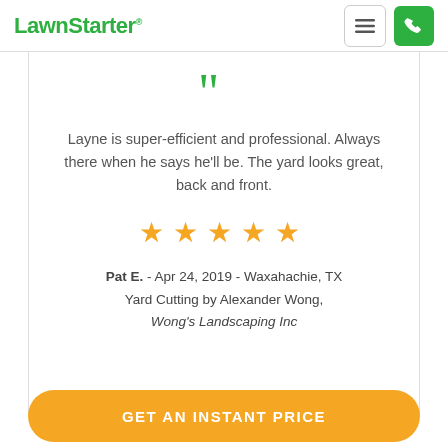LawnStarter
[Figure (other): Large green opening quotation mark icon]
Layne is super-efficient and professional. Always there when he says he'll be. The yard looks great, back and front.
[Figure (other): 5 gold/yellow star rating icons]
Pat E. - Apr 24, 2019 - Waxahachie, TX
Yard Cutting by Alexander Wong,
Wong's Landscaping Inc
GET AN INSTANT PRICE